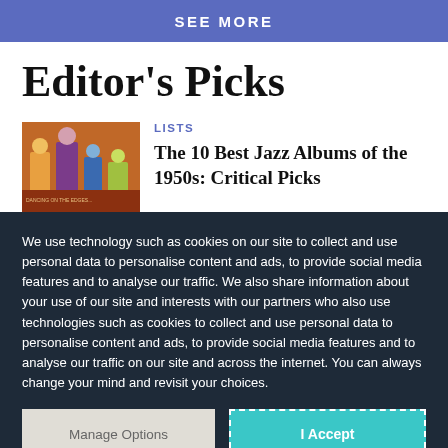[Figure (screenshot): Blue 'SEE MORE' banner button at top of page]
Editor's Picks
LISTS
[Figure (illustration): Album cover artwork showing abstract figures]
The 10 Best Jazz Albums of the 1950s: Critical Picks
We use technology such as cookies on our site to collect and use personal data to personalise content and ads, to provide social media features and to analyse our traffic. We also share information about your use of our site and interests with our partners who also use technologies such as cookies to collect and use personal data to personalise content and ads, to provide social media features and to analyse our traffic on our site and across the internet. You can always change your mind and revisit your choices.
Manage Options
I Accept